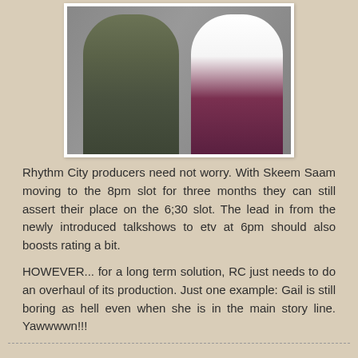[Figure (photo): Two people posing together — a man with crossed arms wearing an olive shirt and a woman in a white blouse and dark maroon skirt, against a blurred background]
Rhythm City producers need not worry. With Skeem Saam moving to the 8pm slot for three months they can still assert their place on the 6;30 slot. The lead in from the newly introduced talkshows to etv at 6pm should also boosts rating a bit.
HOWEVER... for a long term solution, RC just needs to do an overhaul of its production. Just one example: Gail is still boring as hell even when she is in the main story line. Yawwwwn!!!